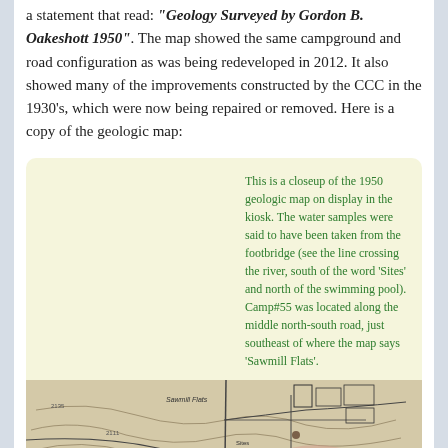The most recent year on the geologic map was located in a statement that read: "Geology Surveyed by Gordon B. Oakeshott 1950". The map showed the same campground and road configuration as was being redeveloped in 2012. It also showed many of the improvements constructed by the CCC in the 1930's, which were now being repaired or removed. Here is a copy of the geologic map:
This is a closeup of the 1950 geologic map on display in the kiosk. The water samples were said to have been taken from the footbridge (see the line crossing the river, south of the word 'Sites' and north of the swimming pool). Camp#55 was located along the middle north-south road, just southeast of where the map says 'Sawmill Flats'.
[Figure (map): A closeup of the 1950 geologic map showing campground roads, a river crossing (footbridge), contour lines, and terrain features including the area around Sawmill Flats. The map has a beige/tan background with dark line drawings of roads, contours, and geographic features. A pinkish-tan shaded area is visible in the lower right portion.]